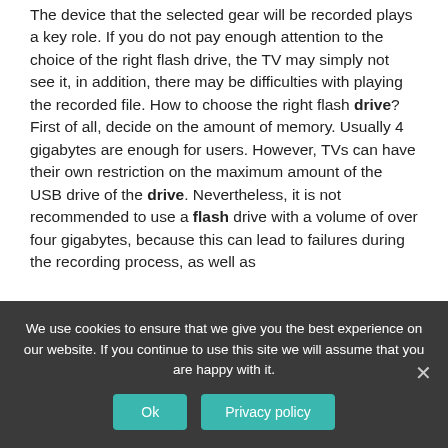The device that the selected gear will be recorded plays a key role. If you do not pay enough attention to the choice of the right flash drive, the TV may simply not see it, in addition, there may be difficulties with playing the recorded file. How to choose the right flash drive? First of all, decide on the amount of memory. Usually 4 gigabytes are enough for users. However, TVs can have their own restriction on the maximum amount of the USB drive of the drive. Nevertheless, it is not recommended to use a flash drive with a volume of over four gigabytes, because this can lead to failures during the recording process, as well as
We use cookies to ensure that we give you the best experience on our website. If you continue to use this site we will assume that you are happy with it.